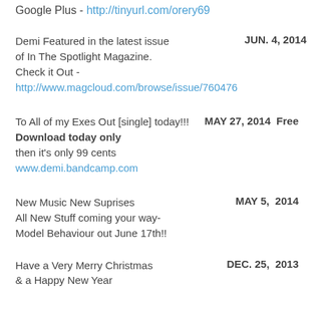Google Plus - http://tinyurl.com/orery69
Demi Featured in the latest issue of In The Spotlight Magazine. Check it Out - http://www.magcloud.com/browse/issue/760476
JUN. 4, 2014
To All of my Exes Out [single] today!!! Download today only then it's only 99 cents www.demi.bandcamp.com
MAY 27, 2014  Free
New Music New Suprises All New Stuff coming your way- Model Behaviour out June 17th!!
MAY 5,  2014
Have a Very Merry Christmas & a Happy New Year
DEC. 25,  2013